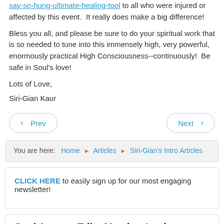say-so-hung-ultimate-healing-tool to all who were injured or affected by this event.  It really does make a big difference!
Bless you all, and please be sure to do your spiritual work that is so needed to tune into this immensely high, very powerful, enormously practical High Consciousness--continuously!  Be safe in Soul's love!
Lots of Love,
Siri-Gian Kaur
Prev | Next navigation buttons
You are here: Home ▶ Articles ▶ Siri-Gian's Intro Articles
CLICK HERE to easily sign up for our most engaging newsletter!
Soul Answer Tribe Member Login
Username or email